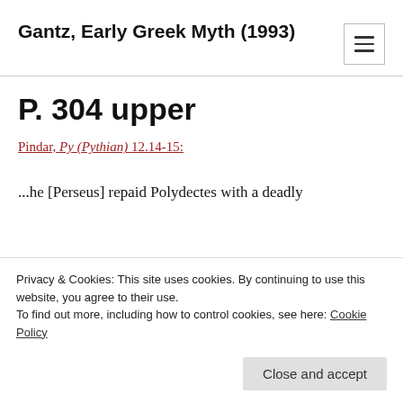Gantz, Early Greek Myth (1993)
P. 304 upper
Pindar, Py (Pythian) 12.14-15:
...he [Perseus] repaid Polydectes with a deadly
Privacy & Cookies: This site uses cookies. By continuing to use this website, you agree to their use.
To find out more, including how to control cookies, see here: Cookie Policy